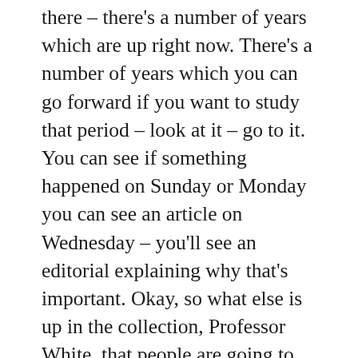there – there's a number of years which are up right now. There's a number of years which you can go forward if you want to study that period – look at it – go to it. You can see if something happened on Sunday or Monday you can see an article on Wednesday – you'll see an editorial explaining why that's important. Okay, so what else is up in the collection, Professor White, that people are going to now see?
RW: Like I mentioned, there's Unfinished Business, which is a documentary that I produced. It came out in 2012. It's available online – open access – and it has